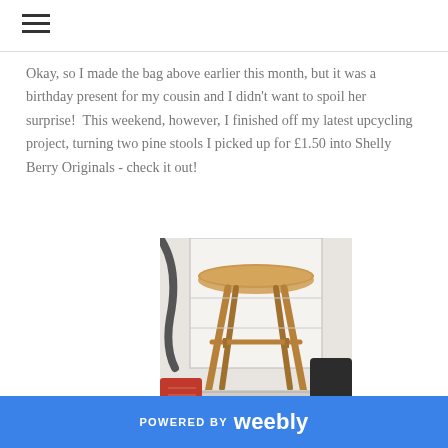Okay, so I made the bag above earlier this month, but it was a birthday present for my cousin and I didn't want to spoil her surprise!  This weekend, however, I finished off my latest upcycling project, turning two pine stools I picked up for £1.50 into Shelly Berry Originals - check it out!
[Figure (photo): A wooden pine bar stool photographed in a cluttered room. The stool has a round top and four angled legs with a cross-support bar. Visible in the background are a vacuum cleaner hose, shelving, and assorted bags and items on the floor.]
POWERED BY weebly